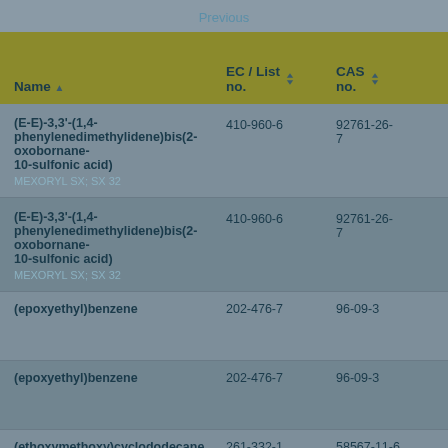Previous
| Name | EC / List no. | CAS no. |
| --- | --- | --- |
| (E-E)-3,3'-(1,4-phenylenedimethylidene)bis(2-oxobornane-10-sulfonic acid)
MEXORYL SX; SX 32 | 410-960-6 | 92761-26-7 |
| (E-E)-3,3'-(1,4-phenylenedimethylidene)bis(2-oxobornane-10-sulfonic acid)
MEXORYL SX; SX 32 | 410-960-6 | 92761-26-7 |
| (epoxyethyl)benzene | 202-476-7 | 96-09-3 |
| (epoxyethyl)benzene | 202-476-7 | 96-09-3 |
| (ethoxymethoxy)cyclododecane | 261-332-1 | 58567-11-6 |
| (ethyl-... | ... | 14799-75-... |